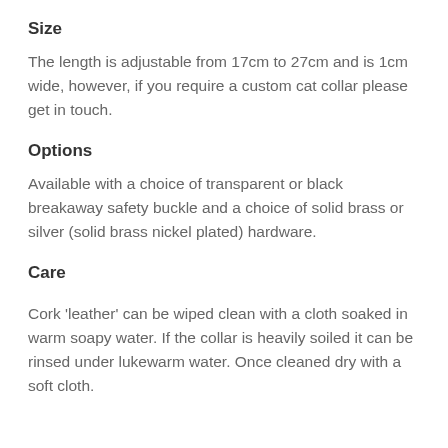Size
The length is adjustable from 17cm to 27cm and is 1cm wide, however, if you require a custom cat collar please get in touch.
Options
Available with a choice of transparent or black breakaway safety buckle and a choice of solid brass or silver (solid brass nickel plated) hardware.
Care
Cork 'leather' can be wiped clean with a cloth soaked in warm soapy water. If the collar is heavily soiled it can be rinsed under lukewarm water. Once cleaned dry with a soft cloth.